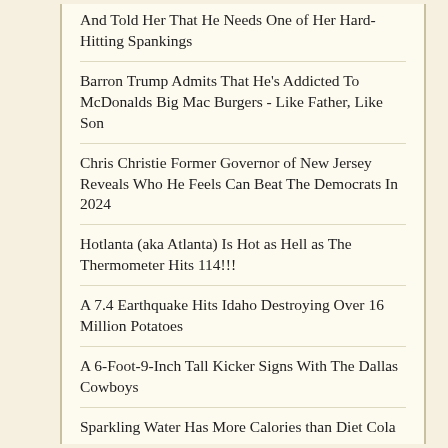And Told Her That He Needs One of Her Hard-Hitting Spankings
Barron Trump Admits That He's Addicted To McDonalds Big Mac Burgers - Like Father, Like Son
Chris Christie Former Governor of New Jersey Reveals Who He Feels Can Beat The Democrats In 2024
Hotlanta (aka Atlanta) Is Hot as Hell as The Thermometer Hits 114!!!
A 7.4 Earthquake Hits Idaho Destroying Over 16 Million Potatoes
A 6-Foot-9-Inch Tall Kicker Signs With The Dallas Cowboys
Sparkling Water Has More Calories than Diet Cola
Nina Dobrev, Ian Somerhalder, and Paul Wesley Talk About The Sexually Charged "Vampire Diaries"
Rhode Island Has Just Kicked The NRA's Ass Out!
The Reason Why Detroit's Cachatelli Family Is Being Forced To Sell Their 27% Ownership In The